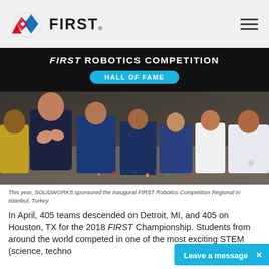FIRST Robotics Competition Hall of Fame - navigation bar with FIRST logo and hamburger menu
FIRST ROBOTICS COMPETITION HALL OF FAME
[Figure (photo): Group of students sitting on a gym floor, smiling and clapping, wearing various team shirts in blue, yellow, and white. Confetti is visible on the floor. This is an FRC event photo.]
This year, SOLIDWORKS sponsored the inaugural FIRST Robotics Competition Regional in Istanbul, Turkey.
In April, 405 teams descended on Detroit, MI, and 405 on Houston, TX for the 2018 FIRST Championship. Students from around the world competed in one of the most exciting STEM (science, technology, engineering, and